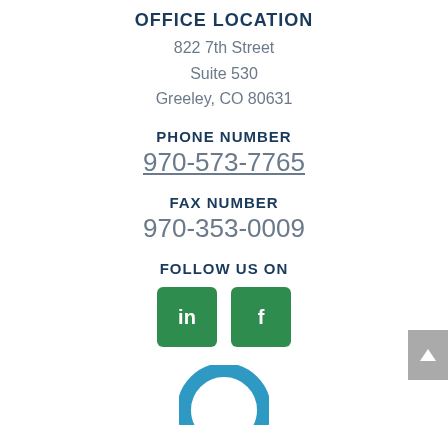OFFICE LOCATION
822 7th Street
Suite 530
Greeley, CO 80631
PHONE NUMBER
970-573-7765
FAX NUMBER
970-353-0009
FOLLOW US ON
[Figure (logo): LinkedIn and Facebook social media icons (green rounded square buttons)]
[Figure (logo): Partial circular logo/avatar at bottom of page]